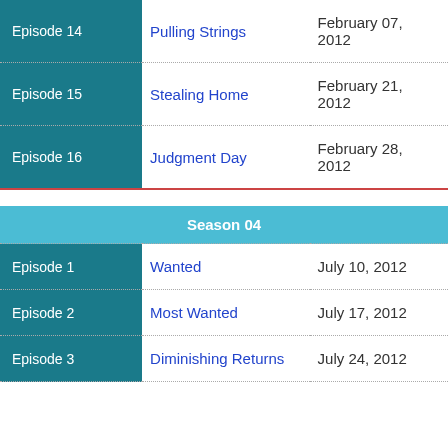| Episode | Title | Air Date |
| --- | --- | --- |
| Episode 14 | Pulling Strings | February 07, 2012 |
| Episode 15 | Stealing Home | February 21, 2012 |
| Episode 16 | Judgment Day | February 28, 2012 |
| Season 04 |  |  |
| Episode 1 | Wanted | July 10, 2012 |
| Episode 2 | Most Wanted | July 17, 2012 |
| Episode 3 | Diminishing Returns | July 24, 2012 |